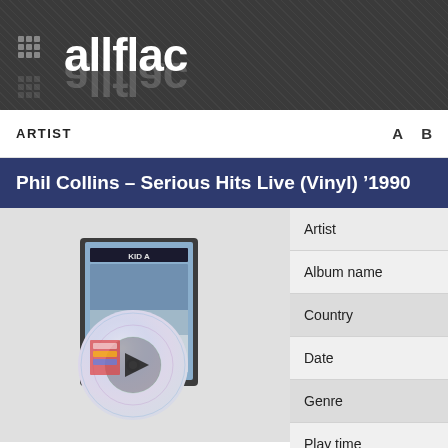allflac
ARTIST   A  B
Phil Collins – Serious Hits Live (Vinyl) '1990
[Figure (illustration): CD/album cover art with play button overlay, showing a CD case labeled KID A with a disc in front]
Artist
Album name
Country
Date
Genre
Play time